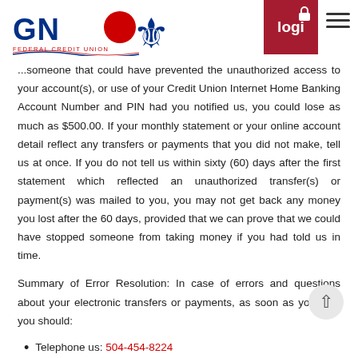GNO Federal Credit Union — login navigation header
...someone that could have prevented the unauthorized access to your account(s), or use of your Credit Union Internet Home Banking Account Number and PIN had you notified us, you could lose as much as $500.00. If your monthly statement or your online account detail reflect any transfers or payments that you did not make, tell us at once. If you do not tell us within sixty (60) days after the first statement which reflected an unauthorized transfer(s) or payment(s) was mailed to you, you may not get back any money you lost after the 60 days, provided that we can prove that we could have stopped someone from taking money if you had told us in time.
Summary of Error Resolution: In case of errors and questions about your electronic transfers or payments, as soon as you can, you should:
Telephone us: 504-454-8224